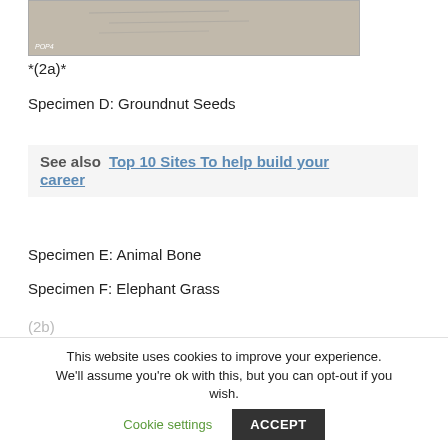[Figure (photo): A photograph of a document or paper with handwritten/printed text, partially visible. Label 'POP4' visible at bottom left.]
*(2a)*
Specimen D: Groundnut Seeds
See also  Top 10 Sites To help build your career
Specimen E: Animal Bone
Specimen F: Elephant Grass
(2b)
This website uses cookies to improve your experience. We'll assume you're ok with this, but you can opt-out if you wish.